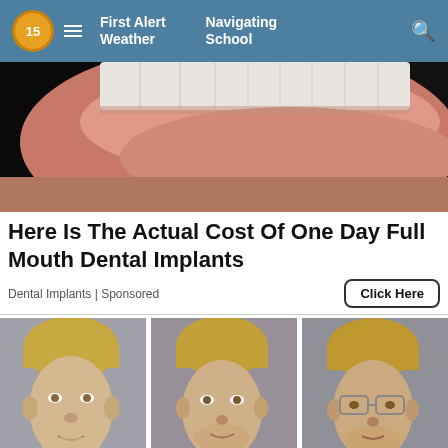First Alert Weather | Navigating School
[Figure (photo): Close-up photo of a mouth showing teeth and lips with stubble]
Here Is The Actual Cost Of One Day Full Mouth Dental Implants
Dental Implants | Sponsored
Click Here
[Figure (photo): Three mugshot-style photos of a person with blond hair shown at three different ages or angles]